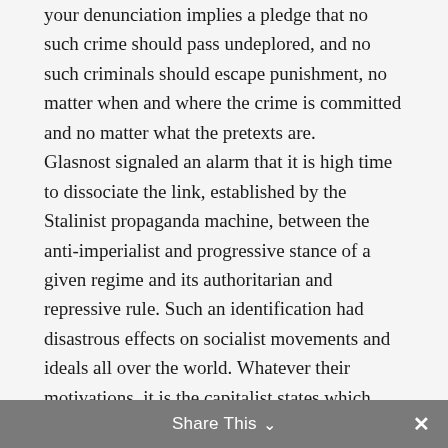your denunciation implies a pledge that no such crime should pass undeplored, and no such criminals should escape punishment, no matter when and where the crime is committed and no matter what the pretexts are.

Glasnost signaled an alarm that it is high time to dissociate the link, established by the Stalinist propaganda machine, between the anti-imperialist and progressive stance of a given regime and its authoritarian and repressive rule. Such an identification had disastrous effects on socialist movements and ideals all over the world. Whatever their motivations, it is the capitalist states which have been raising their voices in defense of
Share This ∨  ×